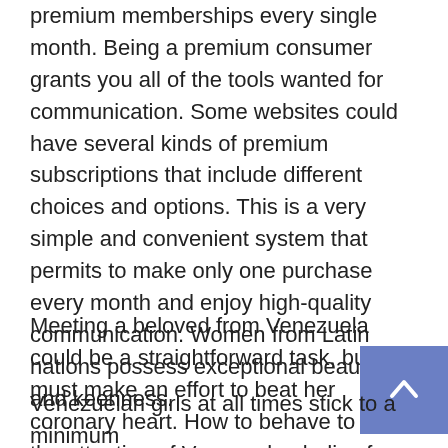premium memberships every single month. Being a premium consumer grants you all of the tools wanted for communication. Some websites could have several kinds of premium subscriptions that include different choices and options. This is a very simple and convenient system that permits to make only one purchase every month and enjoy high-quality communication. Women from Latin nations possess exceptional beauty and keenness.
Meeting a beloved from Venezuela could be a straightforward task, but you must make an effort to beat her coronary heart. How to behave to draw the attention of Venezuelan ladies for marriage and deserve their love? Although there's some mail order bride value , you possibly can't buy her love. Bear in thoughts a number of information before starting to look for a twin soul.
Venezuelan girls at all times stick to a minimum